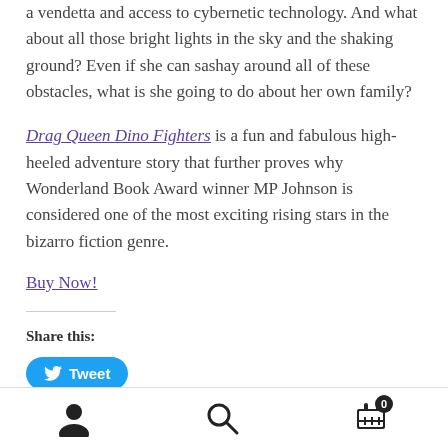a vendetta and access to cybernetic technology. And what about all those bright lights in the sky and the shaking ground? Even if she can sashay around all of these obstacles, what is she going to do about her own family?
Drag Queen Dino Fighters is a fun and fabulous high-heeled adventure story that further proves why Wonderland Book Award winner MP Johnson is considered one of the most exciting rising stars in the bizarro fiction genre.
Buy Now!
Share this:
[Figure (other): Twitter Tweet button — blue rounded button with Twitter bird icon and 'Tweet' label]
Footer navigation bar with user account icon, search icon, and shopping cart icon with badge showing 0